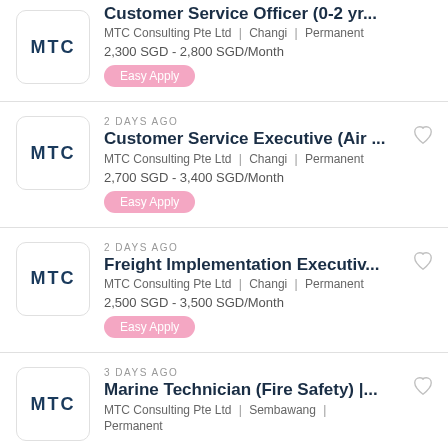[Figure (logo): MTC logo - first card (Customer Service Officer)]
Customer Service Officer (0-2 yr...
MTC Consulting Pte Ltd | Changi | Permanent
2,300 SGD - 2,800 SGD/Month
Easy Apply
[Figure (logo): MTC logo - second card (Customer Service Executive)]
2 DAYS AGO
Customer Service Executive (Air ...
MTC Consulting Pte Ltd | Changi | Permanent
2,700 SGD - 3,400 SGD/Month
Easy Apply
[Figure (logo): MTC logo - third card (Freight Implementation Executive)]
2 DAYS AGO
Freight Implementation Executiv...
MTC Consulting Pte Ltd | Changi | Permanent
2,500 SGD - 3,500 SGD/Month
Easy Apply
[Figure (logo): MTC logo - fourth card (Marine Technician)]
3 DAYS AGO
Marine Technician (Fire Safety) |...
MTC Consulting Pte Ltd | Sembawang |
Permanent